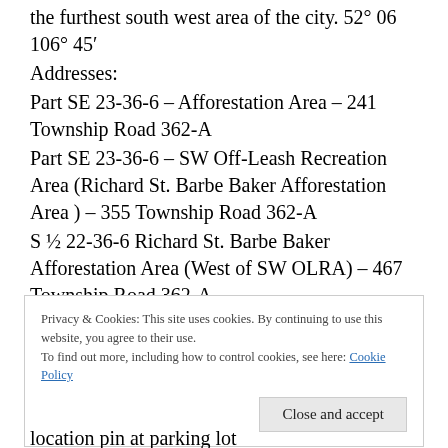the furthest south west area of the city. 52° 06 106° 45′
Addresses:
Part SE 23-36-6 – Afforestation Area – 241 Township Road 362-A
Part SE 23-36-6 – SW Off-Leash Recreation Area (Richard St. Barbe Baker Afforestation Area ) – 355 Township Road 362-A
S ½ 22-36-6 Richard St. Barbe Baker Afforestation Area (West of SW OLRA) – 467 Township Road 362-A
Privacy & Cookies: This site uses cookies. By continuing to use this website, you agree to their use.
To find out more, including how to control cookies, see here: Cookie Policy
location pin at parking lot